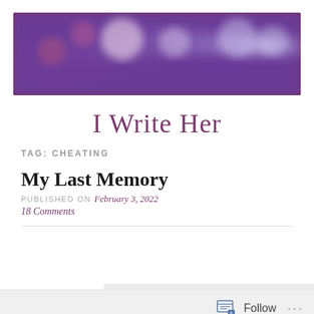[Figure (photo): Abstract blurry purple and pink bokeh photo used as blog header banner]
I Write Her
TAG: CHEATING
My Last Memory
PUBLISHED ON February 3, 2022
18 Comments